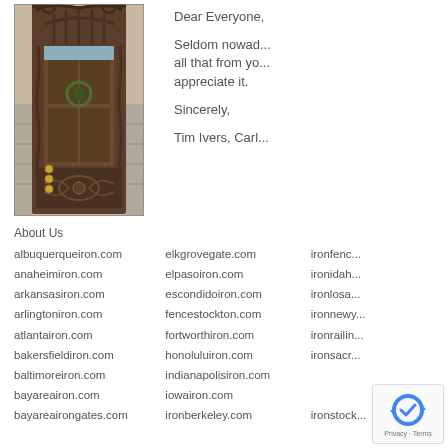[Figure (photo): Ornate wrought iron double entry door with decorative scrollwork, arched top, and stone column surrounds]
Dear Everyone,

Seldom nowad... all that from yo... appreciate it.

Sincerely,

Tim Ivers, Carl...
About Us
albuquerqueiron.com
anaheimiron.com
arkansasiron.com
arlingtoniron.com
atlantairon.com
bakersfieldiron.com
baltimoreiron.com
bayareairon.com
bayareairongates.com
elkgrovegate.com
elpasoiron.com
escondidoiron.com
fencestockton.com
fortworthiron.com
honoluluiron.com
indianapolisiron.com
iowairon.com
ironberkeley.com
ironfence...
ironidah...
ironlosa...
ironnewy...
ironrailin...
ironsacr...
ironstock...